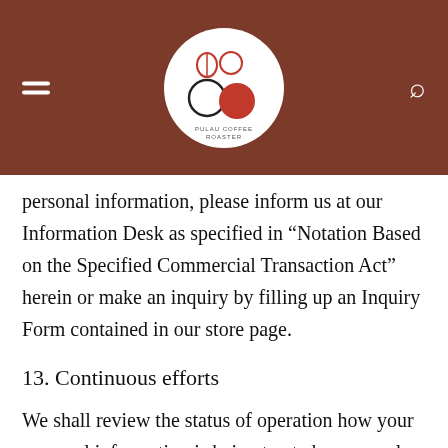[Figure (logo): Pulau Coffee Roaster circular logo with coffee bean illustrations, on a brown header bar with hamburger menu icon on the left and search icon on the right]
personal information, please inform us at our Information Desk as specified in “Notation Based on the Specified Commercial Transaction Act” herein or make an inquiry by filling up an Inquiry Form contained in our store page.
13. Continuous efforts
We shall review the status of operation how your personal information is being treated on a regular basis, and use our best efforts to make them better,